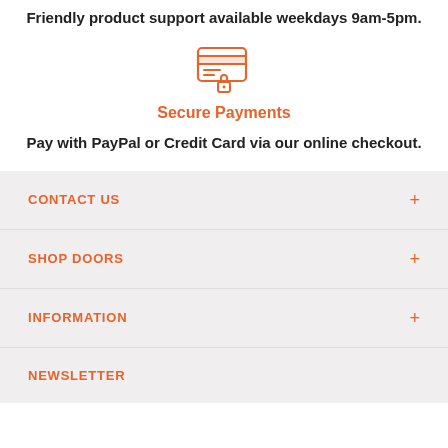Friendly product support available weekdays 9am-5pm.
[Figure (illustration): Orange icon of a credit card with a lock, representing secure payments]
Secure Payments
Pay with PayPal or Credit Card via our online checkout.
CONTACT US
SHOP DOORS
INFORMATION
NEWSLETTER